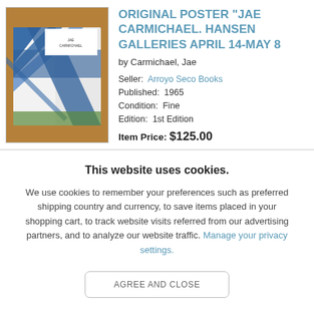[Figure (photo): Photo of an original poster for 'Jae Carmichael. Hansen Galleries April 14-May 8' lying on a wooden table, showing blue and white design elements.]
ORIGINAL POSTER "JAE CARMICHAEL. HANSEN GALLERIES APRIL 14-MAY 8
by Carmichael, Jae
Seller: Arroyo Seco Books
Published: 1965
Condition: Fine
Edition: 1st Edition
Item Price: $125.00
This website uses cookies.
We use cookies to remember your preferences such as preferred shipping country and currency, to save items placed in your shopping cart, to track website visits referred from our advertising partners, and to analyze our website traffic. Manage your privacy settings.
AGREE AND CLOSE